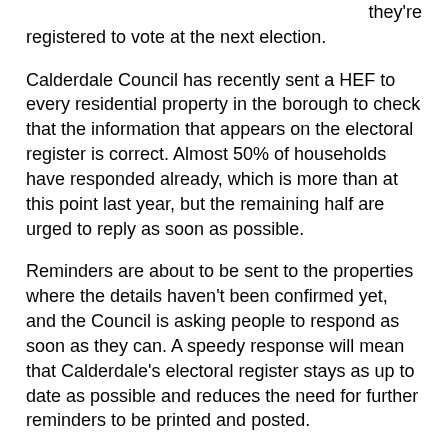they're registered to vote at the next election.
Calderdale Council has recently sent a HEF to every residential property in the borough to check that the information that appears on the electoral register is correct. Almost 50% of households have responded already, which is more than at this point last year, but the remaining half are urged to reply as soon as possible.
Reminders are about to be sent to the properties where the details haven't been confirmed yet, and the Council is asking people to respond as soon as they can. A speedy response will mean that Calderdale's electoral register stays as up to date as possible and reduces the need for further reminders to be printed and posted.
District elections are taking place in May 2018, so this is an important opportunity for residents to make sure they will be able to take part.
Robin Tuddenham, Electoral Registration Officer at Calderdale Council said: